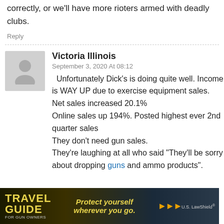correctly, or we'll have more rioters armed with deadly clubs.
Reply
Victoria Illinois
September 3, 2020 At 08:12
Unfortunately Dick's is doing quite well. Income is WAY UP due to exercise equipment sales. Net sales increased 20.1% Online sales up 194%. Posted highest ever 2nd quarter sales They don't need gun sales. They're laughing at all who said "They'll be sorry about dropping guns and ammo products".
[Figure (infographic): Travel Guide for Gun Owners advertisement banner with yellow text 'TRAVEL GUIDE' and tagline 'Protect yourself wherever you go.' with US LawShield logo]